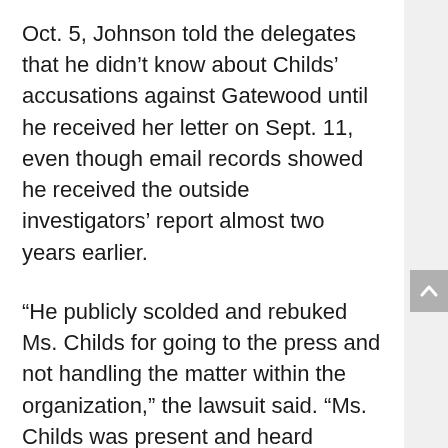Oct. 5, Johnson told the delegates that he didn't know about Childs' accusations against Gatewood until he received her letter on Sept. 11, even though email records showed he received the outside investigators' report almost two years earlier.
“He publicly scolded and rebuked Ms. Childs for going to the press and not handling the matter within the organization,” the lawsuit said. “Ms. Childs was present and heard President Johnson’s remarks.”